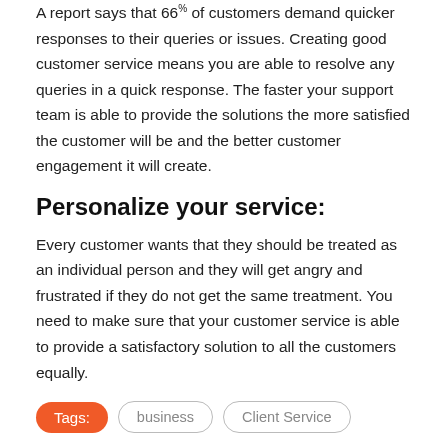A report says that 66% of customers demand quicker responses to their queries or issues. Creating good customer service means you are able to resolve any queries in a quick response. The faster your support team is able to provide the solutions the more satisfied the customer will be and the better customer engagement it will create.
Personalize your service:
Every customer wants that they should be treated as an individual person and they will get angry and frustrated if they do not get the same treatment. You need to make sure that your customer service is able to provide a satisfactory solution to all the customers equally.
Tags: business Client Service
James Patterson